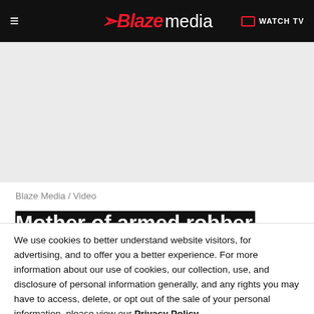Blaze media — WATCH TV
[Figure (other): Gray advertisement placeholder area]
Blaze Media / Video
Mother of armed robber shot dead by man defending his children: "Why did he shoot..."
We use cookies to better understand website visitors, for advertising, and to offer you a better experience. For more information about our use of cookies, our collection, use, and disclosure of personal information generally, and any rights you may have to access, delete, or opt out of the sale of your personal information, please view our Privacy Policy.
Learn more | CLOSE